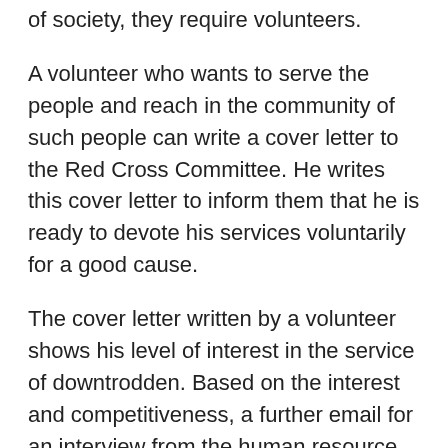of society, they require volunteers.
A volunteer who wants to serve the people and reach in the community of such people can write a cover letter to the Red Cross Committee. He writes this cover letter to inform them that he is ready to devote his services voluntarily for a good cause.
The cover letter written by a volunteer shows his level of interest in the service of downtrodden. Based on the interest and competitiveness, a further email for an interview from the human resource department of the Red Cross committee is sent to an applicant.
So, your cover letter should be highlighting with your interest, your experience and skills will be a key